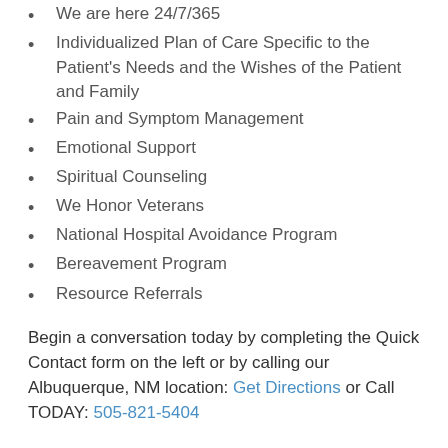We are here 24/7/365
Individualized Plan of Care Specific to the Patient's Needs and the Wishes of the Patient and Family
Pain and Symptom Management
Emotional Support
Spiritual Counseling
We Honor Veterans
National Hospital Avoidance Program
Bereavement Program
Resource Referrals
Begin a conversation today by completing the Quick Contact form on the left or by calling our Albuquerque, NM location: Get Directions or Call TODAY: 505-821-5404
Patients will be accepted for care without discrimination on the basis of race, color, religion, age, gender, sexual orientation, mental disability, physical disability, communicable disease, or place of national origin.